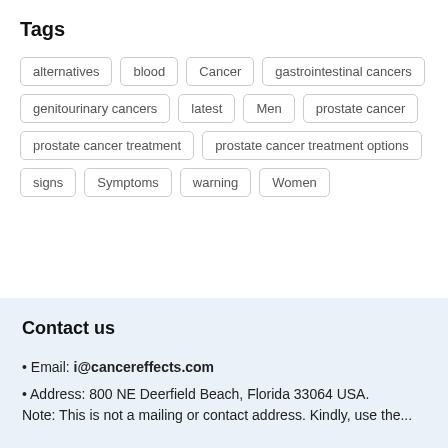Tags
alternatives
blood
Cancer
gastrointestinal cancers
genitourinary cancers
latest
Men
prostate cancer
prostate cancer treatment
prostate cancer treatment options
signs
Symptoms
warning
Women
Contact us
• Email: i@cancereffects.com
• Address: 800 NE Deerfield Beach, Florida 33064 USA. Note: This is not a mailing or contact address. Kindly, use the...